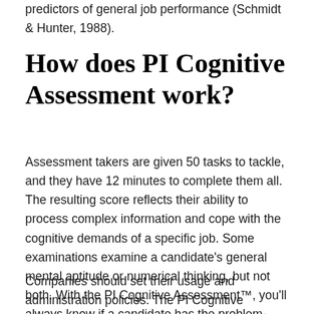predictors of general job performance (Schmidt & Hunter, 1988).
How does PI Cognitive Assessment work?
Assessment takers are given 50 tasks to tackle, and they have 12 minutes to complete them all. The resulting score reflects their ability to process complex information and cope with the cognitive demands of a specific job. Some examinations examine a candidate's general mental aptitude or numerical thinking, but not both. With the PI Cognitive Assessment™, you'll always know if a candidate has the problem-solving skills needed for the position.
Companies should set their usage and administration policies. The PI Cognitive Assessment is for candidates or current workers looking for a new post with varying